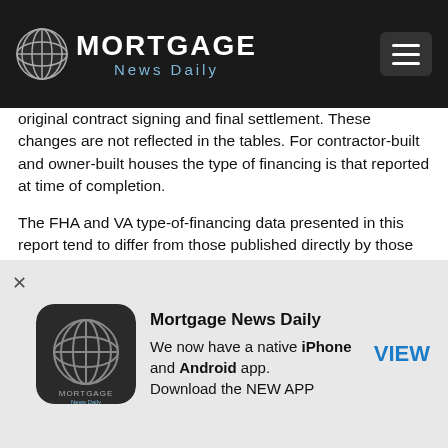Mortgage News Daily
original contract signing and final settlement. These changes are not reflected in the tables. For contractor-built and owner-built houses the type of financing is that reported at time of completion.
The FHA and VA type-of-financing data presented in this report tend to differ from those published directly by those agencies. For the actual number of FHA-insured and VA-guaranteed loans made for new houses at the time of final settlement, refer to the publications of the respective agencies. The data differ because of the difference in time periods between the signing of the original sales contract, the start of construction, and the insurance or guarantee of the mortgage, as well as the sampling variability in this survey.
Early in 1993, the Bureau of the Administration was required to...
[Figure (infographic): Mortgage News Daily app advertisement banner with logo icon, title 'Mortgage News Daily', text 'We now have a native iPhone and Android app. Download the NEW APP', and a VIEW button]